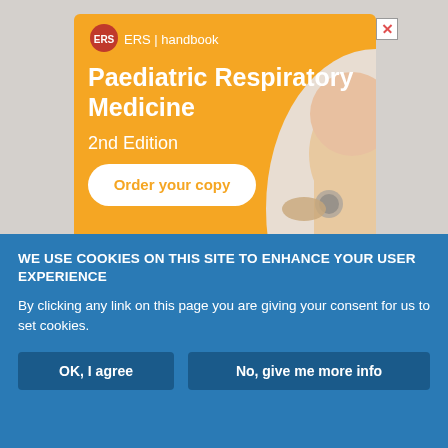[Figure (illustration): ERS Handbook advertisement banner for 'Paediatric Respiratory Medicine 2nd Edition' with orange background, ERS logo, title text, 'Order your copy' button, and an image of a baby being examined with a stethoscope.]
WE USE COOKIES ON THIS SITE TO ENHANCE YOUR USER EXPERIENCE
By clicking any link on this page you are giving your consent for us to set cookies.
OK, I agree
No, give me more info